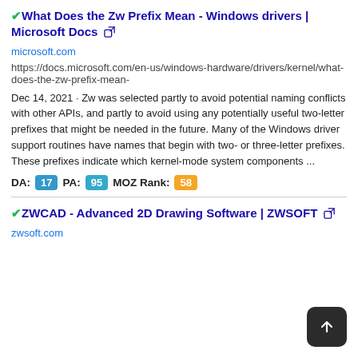✔What Does the Zw Prefix Mean - Windows drivers | Microsoft Docs 🔗
microsoft.com
https://docs.microsoft.com/en-us/windows-hardware/drivers/kernel/what-does-the-zw-prefix-mean-
Dec 14, 2021 · Zw was selected partly to avoid potential naming conflicts with other APIs, and partly to avoid using any potentially useful two-letter prefixes that might be needed in the future. Many of the Windows driver support routines have names that begin with two- or three-letter prefixes. These prefixes indicate which kernel-mode system components ...
DA: 17  PA: 95  MOZ Rank: 58
✔ZWCAD - Advanced 2D Drawing Software | ZWSOFT 🔗
zwsoft.com